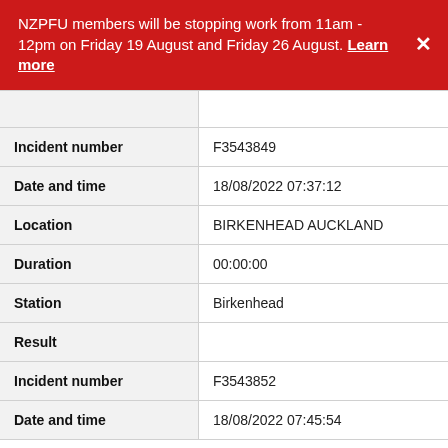NZPFU members will be stopping work from 11am - 12pm on Friday 19 August and Friday 26 August. Learn more
| Field | Value |
| --- | --- |
| Incident number | F3543849 |
| Date and time | 18/08/2022 07:37:12 |
| Location | BIRKENHEAD AUCKLAND |
| Duration | 00:00:00 |
| Station | Birkenhead |
| Result |  |
| Incident number | F3543852 |
| Date and time | 18/08/2022 07:45:54 |